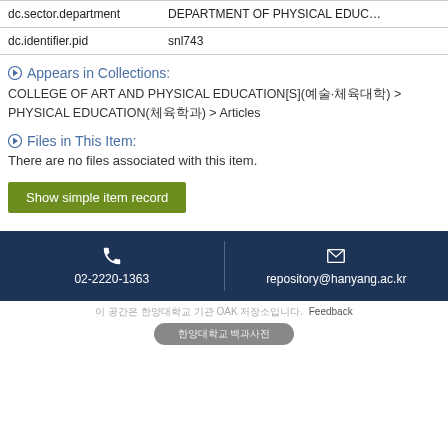| Field | Value |
| --- | --- |
| dc.sector.department | DEPARTMENT OF PHYSICAL EDUC… |
| dc.identifier.pid | snl743 |
Appears in Collections:
COLLEGE OF ART AND PHYSICAL EDUCATION[S](예술·체육대학) > PHYSICAL EDUCATION(체육학과) > Articles
Files in This Item:
There are no files associated with this item.
Show simple item record
02-2220-1363  repository@hanyang.ac.kr
이 공간은 한양대학교 기관 OAK 저장소입니다. Feedback